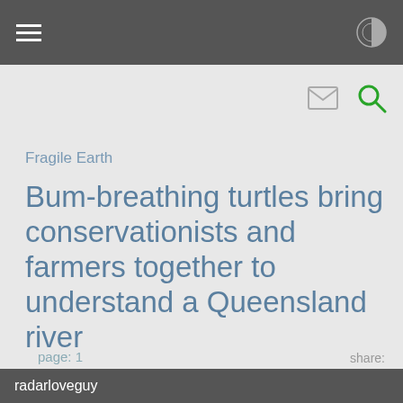Fragile Earth
Bum-breathing turtles bring conservationists and farmers together to understand a Queensland river
page: 1
5
share:
radarloveguy